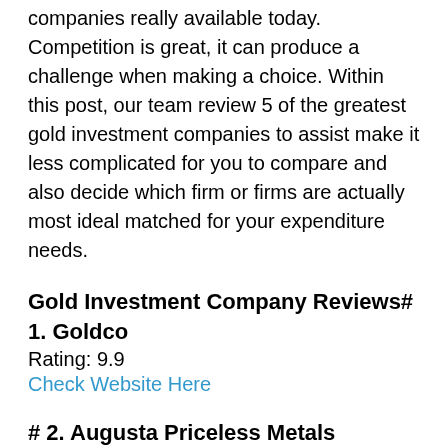companies really available today. Competition is great, it can produce a challenge when making a choice. Within this post, our team review 5 of the greatest gold investment companies to assist make it less complicated for you to compare and also decide which firm or firms are actually most ideal matched for your expenditure needs.
Gold Investment Company Reviews# 1. Goldco
Rating: 9.9
Check Website Here
# 2. Augusta Priceless Metals
Score 9.4
Check Website Here
# 3. Birch Gold P...